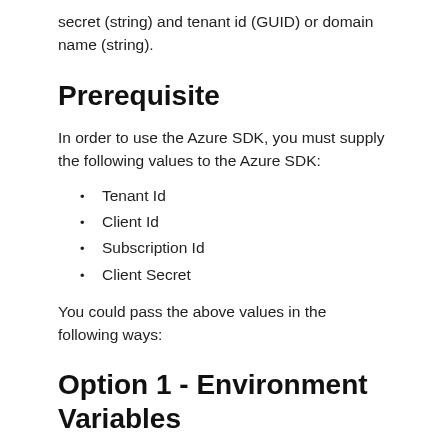secret (string) and tenant id (GUID) or domain name (string).
Prerequisite
In order to use the Azure SDK, you must supply the following values to the Azure SDK:
Tenant Id
Client Id
Subscription Id
Client Secret
You could pass the above values in the following ways:
Option 1 - Environment Variables
You can set the (above) values using the following environment variables: